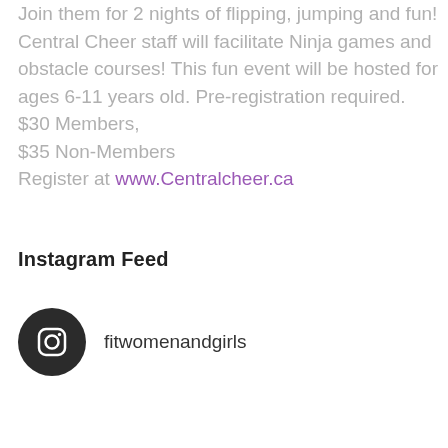Join them for 2 nights of flipping, jumping and fun! Central Cheer staff will facilitate Ninja games and obstacle courses! This fun event will be hosted for ages 6-11 years old. Pre-registration required.
$30 Members,
$35 Non-Members
Register at www.Centralcheer.ca
Instagram Feed
fitwomenandgirls